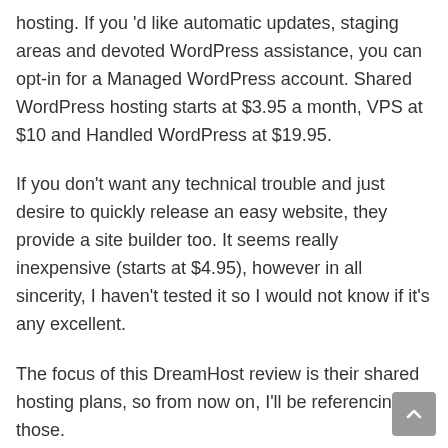hosting. If you 'd like automatic updates, staging areas and devoted WordPress assistance, you can opt-in for a Managed WordPress account. Shared WordPress hosting starts at $3.95 a month, VPS at $10 and Handled WordPress at $19.95.
If you don't want any technical trouble and just desire to quickly release an easy website, they provide a site builder too. It seems really inexpensive (starts at $4.95), however in all sincerity, I haven't tested it so I would not know if it's any excellent.
The focus of this DreamHost review is their shared hosting plans, so from now on, I'll be referencing those.